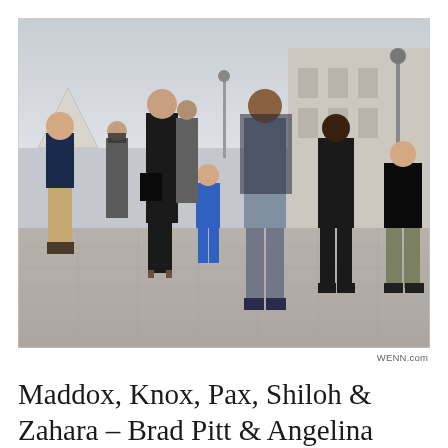[Figure (photo): Group of people walking outdoors near what appears to be the Louvre in Paris. A woman in black dress and sunglasses walks with several children of varying ages across a stone plaza. A glass pyramid and classical building are visible in the background.]
WENN.com
Maddox, Knox, Pax, Shiloh & Zahara – Brad Pitt & Angelina